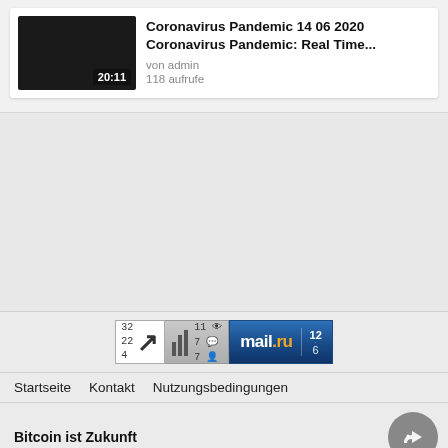[Figure (screenshot): Video thumbnail for Coronavirus Pandemic 14 06 2020, dark/black background with duration 20:11]
Coronavirus Pandemic 14 06 2020
Coronavirus Pandemic: Real Time...
von admin
118 aufrufe
[Figure (infographic): Three web counter widgets: LiveInternet stat widget with numbers 32 22 4 and arrow, a bar chart counter widget with 11 views / 7 comments / 7 users, and a mail.ru counter widget showing 12 and 6]
Startseite   Kontakt   Nutzungsbedingungen
Bitcoin ist Zukunft
Deutsch ▲